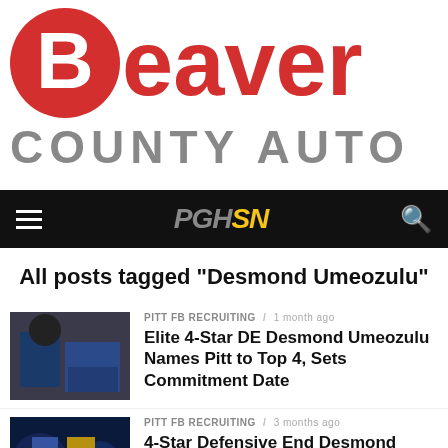[Figure (logo): Beaver County Auto logo with red circle containing white B, red Beaver text, and gray COUNTY AUTO subtitle]
PGHSN navigation bar with hamburger menu and search icon
All posts tagged "Desmond Umeozulu"
PITT FB RECRUITING / 1 month ago
Elite 4-Star DE Desmond Umeozulu Names Pitt to Top 4, Sets Commitment Date
PITT FB RECRUITING / 3 months ago
4-Star Defensive End Desmond Umeozulu Schedules Official Visit To Pitt
PITT FB RECRUITING / 5 months ago